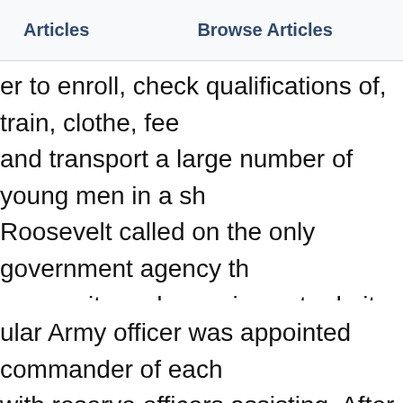Articles    Browse Articles
er to enroll, check qualifications of, train, clothe, fee and transport a large number of young men in a sh Roosevelt called on the only government agency th e capacity and experience to do it: the U.S. Army. ng was leftover World War I uniforms. Initial housing t sites was Army tents, replaced as soon as practic rollee-built barracks, mess halls and support buildin e were, in turn, replaced by portable, reusable buildi 1935.
ular Army officer was appointed commander of each with reserve officers assisting. After December 193 e officers replaced regular officers as commanders